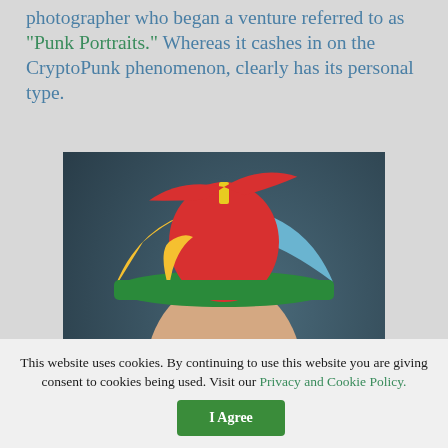photographer who began a venture referred to as “Punk Portraits.” Whereas it cashes in on the CryptoPunk phenomenon, clearly has its personal type.
[Figure (photo): A young man wearing a colorful propeller beanie hat (red, yellow, green, blue sections) with a red propeller on top, and thick-rimmed glasses, photographed against a dark teal/gray background.]
This website uses cookies. By continuing to use this website you are giving consent to cookies being used. Visit our Privacy and Cookie Policy.
I Agree